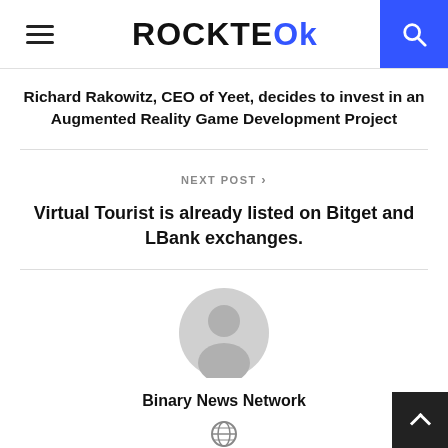ROCKTTEOK
Richard Rakowitz, CEO of Yeet, decides to invest in an Augmented Reality Game Development Project
NEXT POST >
Virtual Tourist is already listed on Bitget and LBank exchanges.
[Figure (illustration): Gray circular user avatar/profile icon]
Binary News Network